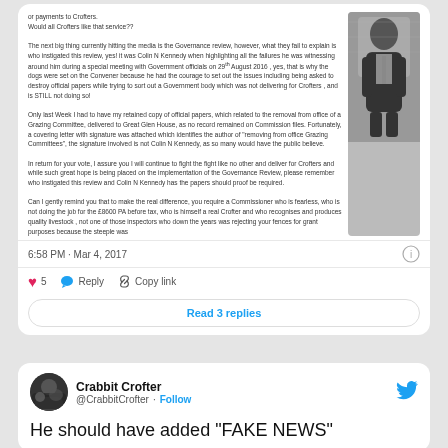[Figure (screenshot): Tweet screenshot showing text about Governance review, Colin N Kennedy, Crofters, and a black-and-white photo of a person in a suit]
6:58 PM · Mar 4, 2017
5 · Reply · Copy link
Read 3 replies
[Figure (screenshot): Tweet from Crabbit Crofter @CrabbitCrofter with text beginning 'He should have added "FAKE NEWS"']
Crabbit Crofter @CrabbitCrofter · Follow
He should have added "FAKE NEWS"